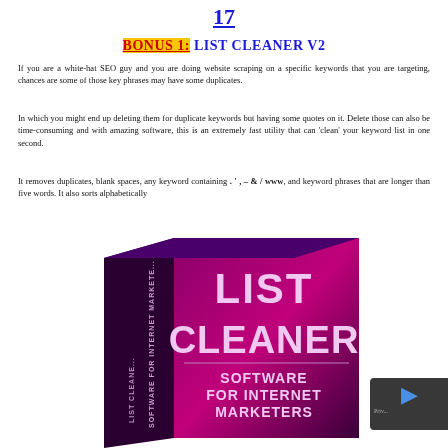17
BONUS 1: LIST CLEANER V2
If you are a white-hat SEO guy and you are doing website scraping on a specific keywords that you are targeting, chances are some of those key phrases may have some duplicates.
In which you might end up deleting them for duplicate keywords but having some quotes on it. Delete those can also be time-consuming and with amazing software, this is an extremely fast utility that can 'clean' your keyword list in one second.
It removes duplicates, blank spaces, any keyword containing . ' , – & / www, and keyword phrases that are longer than five words. It also sorts alphabetically
[Figure (illustration): 3D product box for 'List Cleaner – Software for Internet Marketers' with purple/magenta gradient background and white text]